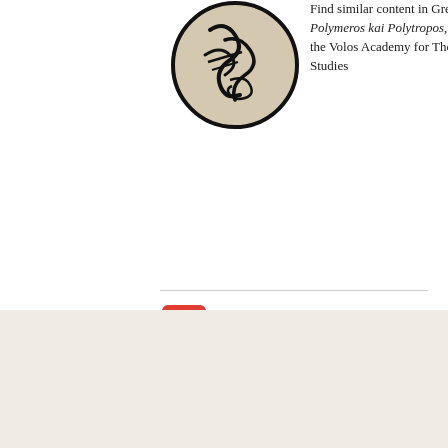[Figure (logo): Circular logo with stylized Greek/calligraphic design on a beige background with black border]
Find similar content in Greek at Polymeros kai Polytropos, published by the Volos Academy for Theological Studies
[Figure (other): RSS feed icon — red rounded square with white RSS symbol]
RSS - Posts
CONTACT
Dr. Nathaniel Wood
Managing Editor